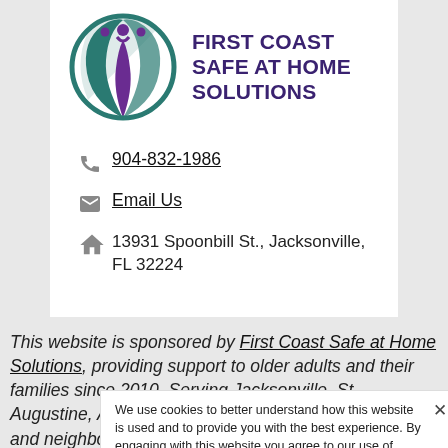[Figure (logo): First Coast Safe at Home Solutions logo: circular teal and purple emblem with stylized figures, next to organization name in bold purple text]
904-832-1986
Email Us
13931 Spoonbill St., Jacksonville, FL 32224
This website is sponsored by First Coast Safe at Home Solutions, providing support to older adults and their families since 2010. Serving Jacksonville, St. Augustine, Amelia Island, Orangepark, St. Johns, Ga, and neighboring areas. Contact us or Be found if looking for a care manager near Jacksonville
We use cookies to better understand how this website is used and to provide you with the best experience. By engaging with this website you agree to our use of cookies. Find out more.